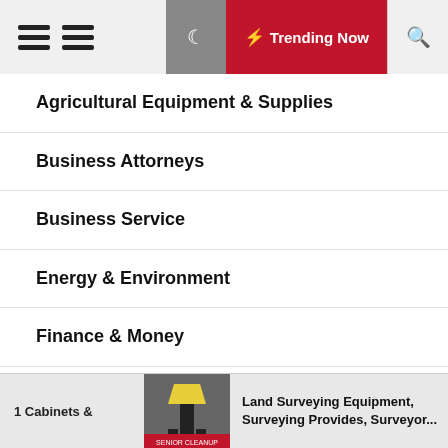Trending Now
Agricultural Equipment & Supplies
Business Attorneys
Business Service
Energy & Environment
Finance & Money
General Article
Industrial Equipment & Supplies
1 Cabinets &    Land Surveying Equipment, Surveying Provides, Surveyor...